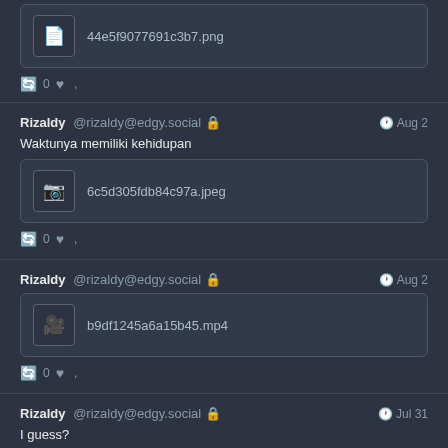44e5f9077691c3b7.png
0
Rizaldy @rizaldy@edgy.social · Aug 2
Waktunya memiliki kehidupan
6c5d305fdb84c97a.jpeg
0
Rizaldy @rizaldy@edgy.social · Aug 2
b9df1245a6a15b45.mp4
0
Rizaldy @rizaldy@edgy.social · Jul 31
I guess?